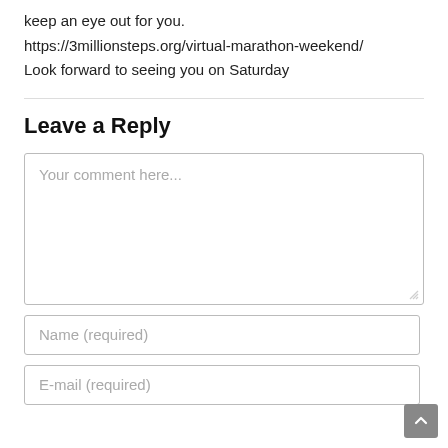keep an eye out for you.
https://3millionsteps.org/virtual-marathon-weekend/
Look forward to seeing you on Saturday
Leave a Reply
Your comment here...
Name (required)
E-mail (required)